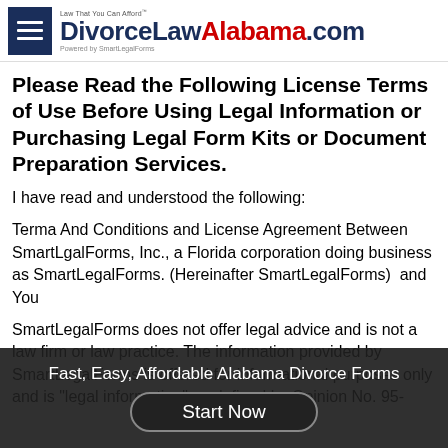DivorceLawAlabama.com — Law That You Can Afford™ — Powered by SmartLegalForms
Please Read the Following License Terms of Use Before Using Legal Information or Purchasing Legal Form Kits or Document Preparation Services.
I have read and understood the following:
Terma And Conditions and License Agreement Between SmartLgalForms, Inc., a Florida corporation doing business as SmartLegalForms. (Hereinafter SmartLegalForms)  and You
SmartLegalForms does not offer legal advice and is not a law firm or law practice. The information provided by SmartLegalForms is offered for informational purposes only and is "legal information" as defined by Opinion No. 95-
Fast, Easy, Affordable Alabama Divorce Forms
Start Now